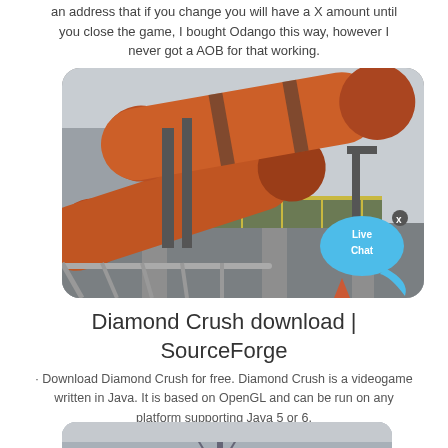an address that if you change you will have a X amount until you close the game, I bought Odango this way, however I never got a AOB for that working.
[Figure (photo): Industrial facility with large orange cylindrical rotary kilns on a concrete structure, with a Live Chat bubble overlay in the bottom right corner.]
Diamond Crush download | SourceForge
· Download Diamond Crush for free. Diamond Crush is a videogame written in Java. It is based on OpenGL and can be run on any platform supporting Java 5 or 6.
[Figure (photo): Partial view of another industrial or construction image at the bottom of the page.]